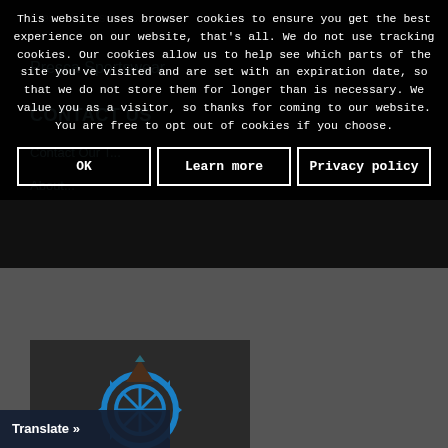This website uses browser cookies to ensure you get the best experience on our website, that's all. We do not use tracking cookies. Our cookies allow us to help see which parts of the site you've visited and are set with an expiration date, so that we do not store them for longer than is necessary. We value you as a visitor, so thanks for coming to our website. You are free to opt out of cookies if you choose.
OK | Learn more | Privacy policy
PEDALNORTH
[Figure (illustration): Cycling logo with a blue gear/chainring and a dark triangular shape on top, representing PedalNorth brand]
Translate »